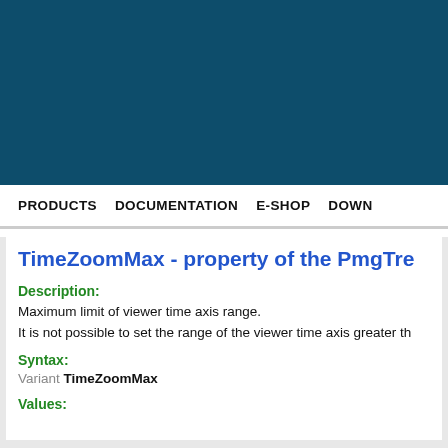[Figure (other): Dark teal/blue header banner background]
PRODUCTS   DOCUMENTATION   E-SHOP   DOWN
TimeZoomMax - property of the PmgTre
Description:
Maximum limit of viewer time axis range.
It is not possible to set the range of the viewer time axis greater th
Syntax:
Variant TimeZoomMax
Values: